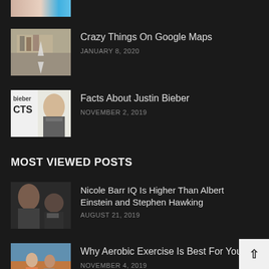[Figure (photo): Partial thumbnail at top, cropped]
Crazy Things On Google Maps
JANUARY 8, 2020
[Figure (photo): Photo of building exterior (Google Maps view)]
Facts About Justin Bieber
NOVEMBER 2, 2019
[Figure (photo): Photo of Justin Bieber with text 'bieber CTS']
MOST VIEWED POSTS
Nicole Barr IQ Is Higher Than Albert Einstein and Stephen Hawking
AUGUST 21, 2019
[Figure (photo): Photo of woman and Stephen Hawking]
Why Aerobic Exercise Is Best For You
NOVEMBER 4, 2019
[Figure (photo): Photo of people exercising aerobically]